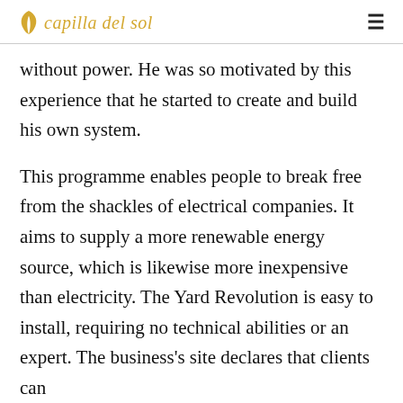capilla del sol
without power. He was so motivated by this experience that he started to create and build his own system.
This programme enables people to break free from the shackles of electrical companies. It aims to supply a more renewable energy source, which is likewise more inexpensive than electricity. The Yard Revolution is easy to install, requiring no technical abilities or an expert. The business's site declares that clients can